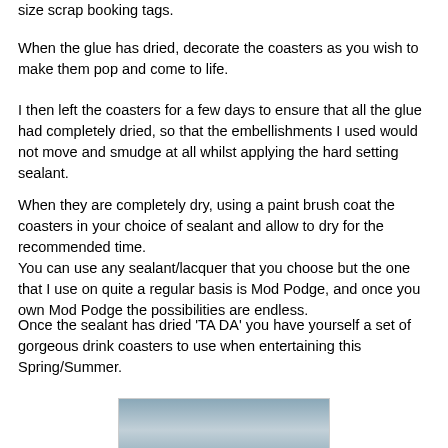size scrap booking tags.
When the glue has dried, decorate the coasters as you wish to make them pop and come to life.
I then left the coasters for a few days to ensure that all the glue had completely dried, so that the embellishments I used would not move and smudge at all whilst applying the hard setting sealant.
When they are completely dry, using a paint brush coat the coasters in your choice of sealant and allow to dry for the recommended time.
You can use any sealant/lacquer that you choose but the one that I use on quite a regular basis is Mod Podge, and once you own Mod Podge the possibilities are endless.
Once the sealant has dried 'TA DA' you have yourself a set of gorgeous drink coasters to use when entertaining this Spring/Summer.
[Figure (photo): Photo of drink coasters, partially visible at bottom of page, showing a grey/blue surface.]